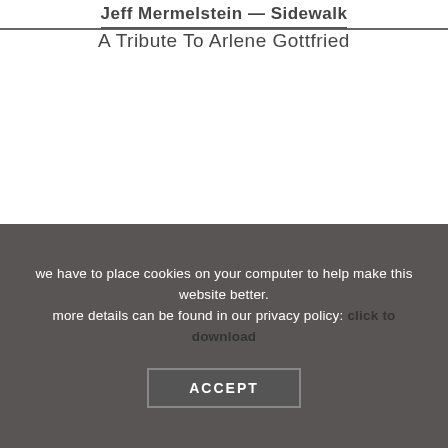Jeff Mermelstein — Sidewalk
A Tribute To Arlene Gottfried
we have to place cookies on your computer to help make this website better. more details can be found in our privacy policy: click to download
ACCEPT